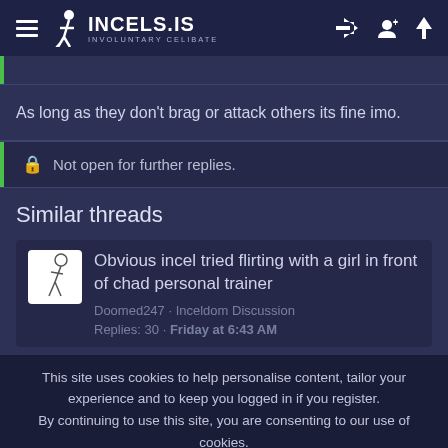INCELS.IS INVOLUNTARY CELIBATE
As long as they don't brag or attack others its fine imo.
Not open for further replies.
Similar threads
Obvious incel tried flirting with a girl in front of chad personal trainer
Doomed247 · Inceldom Discussion
Replies: 30 · Friday at 6:43 AM
This site uses cookies to help personalise content, tailor your experience and to keep you logged in if you register.
By continuing to use this site, you are consenting to our use of cookies.